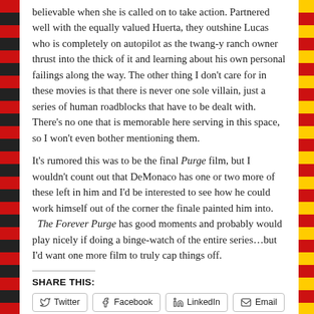believable when she is called on to take action.  Partnered well with the equally valued Huerta, they outshine Lucas who is completely on autopilot as the twang-y ranch owner thrust into the thick of it and learning about his own personal failings along the way.  The other thing I don't care for in these movies is that there is never one sole villain, just a series of human roadblocks that have to be dealt with. There's no one that is memorable here serving in this space, so I won't even bother mentioning them.

It's rumored this was to be the final Purge film, but I wouldn't count out that DeMonaco has one or two more of these left in him and I'd be interested to see how he could work himself out of the corner the finale painted him into.   The Forever Purge has good moments and probably would play nicely if doing a binge-watch of the entire series…but I'd want one more film to truly cap things off.
SHARE THIS:
Twitter | Facebook | LinkedIn | Email